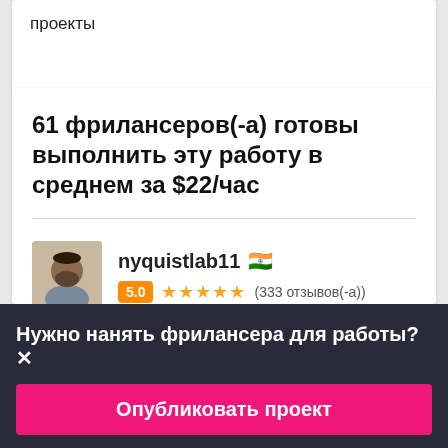проекты
61 фрилансеров(-а) готовы выполнить эту работу в среднем за $22/час
nyquistlab11 🇮🇳 5.0 ★★★★★ (333 отзывов(-а))
Нужно нанять фрилансера для работы? ✕
Опубликовать проект